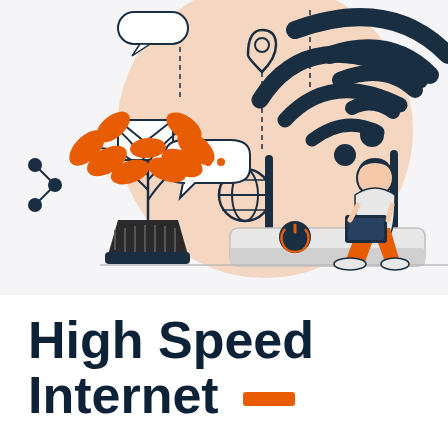[Figure (illustration): Illustration of a person sitting on a WiFi router using a laptop, surrounded by internet connectivity icons: WiFi symbol, globe, location pin, email envelope, chat bubble, plant, and network nodes. Salmon/peach circular background. Orange and dark navy color scheme.]
High Speed Internet